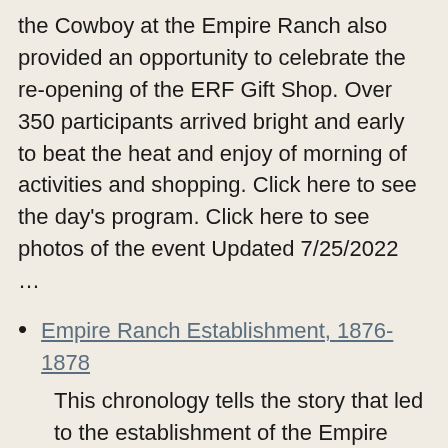the Cowboy at the Empire Ranch also provided an opportunity to celebrate the re-opening of the ERF Gift Shop. Over 350 participants arrived bright and early to beat the heat and enjoy of morning of activities and shopping. Click here to see the day's program. Click here to see photos of the event Updated 7/25/2022 …
Empire Ranch Establishment, 1876-1878
This chronology tells the story that led to the establishment of the Empire Ranch when Walter Lennox Vail (age 24) and Herbert R. Hislop (age 23) purchased a 160 acre homestead in Southeastern Arizona. The information recounted comes primarily from letters written by both partners during the formative years of the Empire Ranch. The Partners Meet and Prepare to Travel to